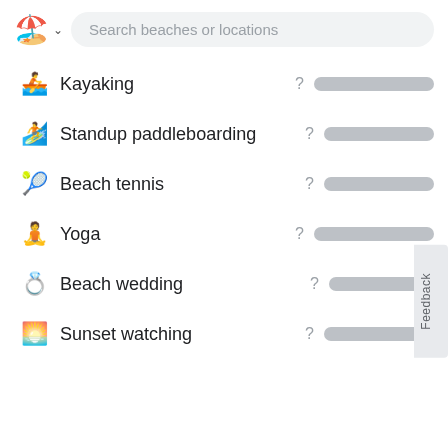[Figure (screenshot): App header with beach/island emoji logo with dropdown arrow and a rounded search bar with placeholder text 'Search beaches or locations']
Kayaking
Standup paddleboarding
Beach tennis
Yoga
Beach wedding
Sunset watching